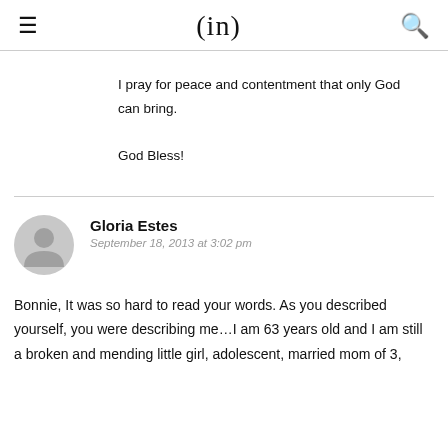(in)
I pray for peace and contentment that only God can bring.

God Bless!
Gloria Estes
September 18, 2013 at 3:02 pm
Bonnie, It was so hard to read your words. As you described yourself, you were describing me…I am 63 years old and I am still a broken and mending little girl, adolescent, married mom of 3,